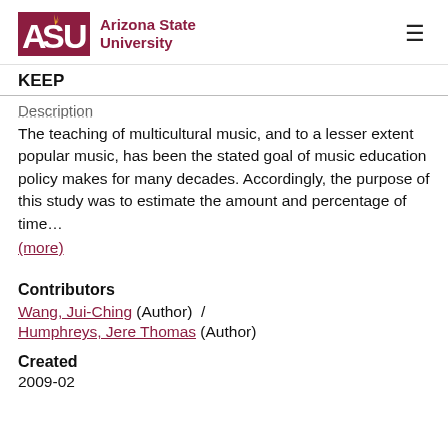ASU Arizona State University | KEEP
Description
The teaching of multicultural music, and to a lesser extent popular music, has been the stated goal of music education policy makes for many decades. Accordingly, the purpose of this study was to estimate the amount and percentage of time…
(more)
Contributors
Wang, Jui-Ching (Author)  /
Humphreys, Jere Thomas (Author)
Created
2009-02